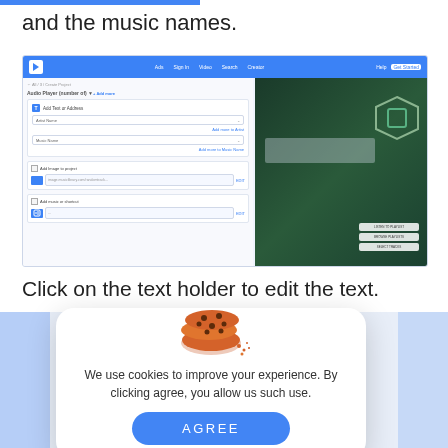and the music names.
[Figure (screenshot): Screenshot of a web application showing a form editor panel on the left with Add Text or Address, Artist Name, and Music Name dropdowns, and an image/Add Image to project section, and Add music or shortcut section. On the right is a preview panel showing a dark forest-themed image with geometric hexagon shape and text overlay.]
Click on the text holder to edit the text.
[Figure (screenshot): Cookie consent modal dialog with a cookie illustration at top, text reading 'We use cookies to improve your experience. By clicking agree, you allow us such use.' and an AGREE button. Behind the modal is a partially visible screenshot of the same web application.]